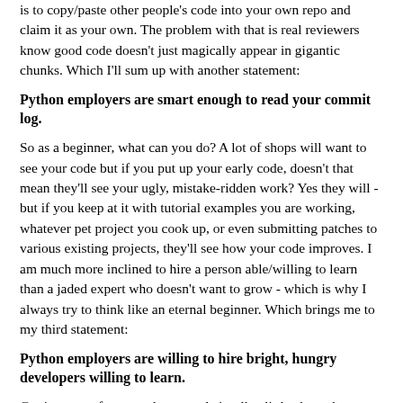is to copy/paste other people's code into your own repo and claim it as your own. The problem with that is real reviewers know good code doesn't just magically appear in gigantic chunks. Which I'll sum up with another statement:
Python employers are smart enough to read your commit log.
So as a beginner, what can you do? A lot of shops will want to see your code but if you put up your early code, doesn't that mean they'll see your ugly, mistake-ridden work? Yes they will - but if you keep at it with tutorial examples you are working, whatever pet project you cook up, or even submitting patches to various existing projects, they'll see how your code improves. I am much more inclined to hire a person able/willing to learn than a jaded expert who doesn't want to grow - which is why I always try to think like an eternal beginner. Which brings me to my third statement:
Python employers are willing to hire bright, hungry developers willing to learn.
Getting away from employment, let's talk a little about the